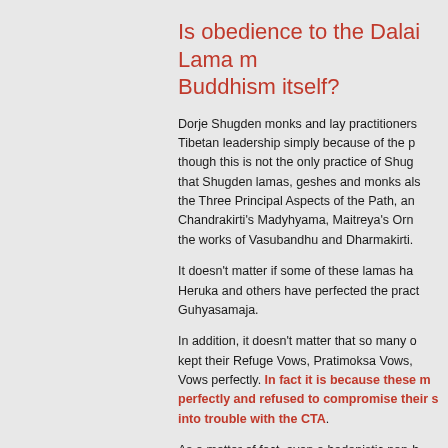Is obedience to the Dalai Lama more important than Buddhism itself?
Dorje Shugden monks and lay practitioners are persecuted by the Tibetan leadership simply because of the practice of Shugden, even though this is not the only practice of Shugden practitioners. Note that Shugden lamas, geshes and monks also teach and practice the Three Principal Aspects of the Path, and study Chandrakirti's Madyhyama, Maitreya's Ornament, as well as the works of Vasubandhu and Dharmakirti.
It doesn't matter if some of these lamas have perfected the practice of Heruka and others have perfected the practice of Guhyasamaja.
In addition, it doesn't matter that so many of these practitioners have kept their Refuge Vows, Pratimoksa Vows, and Bodhisattva Vows perfectly. In fact it is because these monks kept their vows perfectly and refused to compromise their spiritual practice that they got into trouble with the CTA.
As a matter of fact, even a hedonistic non-b...